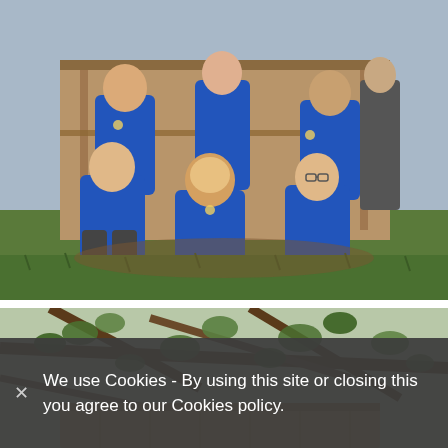[Figure (photo): Group of school children in blue uniforms posing outdoors in a garden/playground area with wooden structures and grass. Adults visible in background.]
[Figure (photo): Close-up photo of tree branches with green leaves, and what appears to be a wooden structure or roof visible below.]
✕  We use Cookies - By using this site or closing this you agree to our Cookies policy.